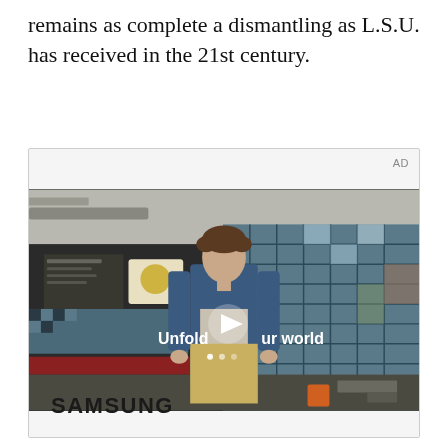remains as complete a dismantling as L.S.U. has received in the 21st century.
[Figure (photo): Advertisement featuring a young man in a denim jacket walking through what appears to be a cafeteria or fast food restaurant with a large tiled window wall behind him. Text overlay reads 'Unfold your world' with a play button. Samsung advertisement.]